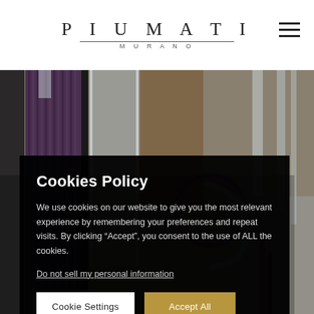PIUMATI MURANO
[Figure (photo): Close-up photo of Murano glass objects including purple ribbed glass vases, transparent glass pitchers and vessels with purple spiral accents, arranged together]
Cookies Policy
We use cookies on our website to give you the most relevant experience by remembering your preferences and repeat visits. By clicking "Accept", you consent to the use of ALL the cookies.
Do not sell my personal information
Cookie Settings   Accept All